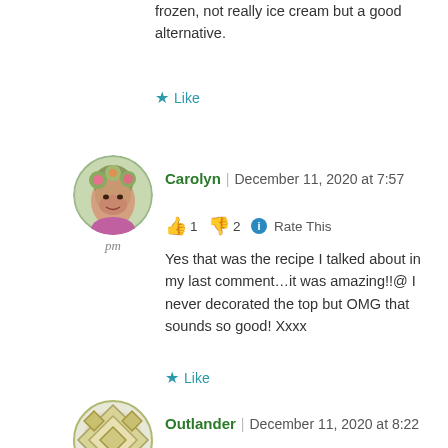frozen, not really ice cream but a good alternative.
★ Like
[Figure (photo): Circular avatar photo of Carolyn with floral headpiece and colorful outfit, bordered with olive green circle. Label 'pm' below.]
Carolyn | December 11, 2020 at 7:57 pm
👍 1 👎 2 ℹ Rate This
Yes that was the recipe I talked about in my last comment…it was amazing!!@ I never decorated the top but OMG that sounds so good! Xxxx
★ Like
[Figure (illustration): Circular avatar with geometric diamond/lattice pattern in olive/tan colors, bordered with olive green circle.]
Outlander | December 11, 2020 at 8:22